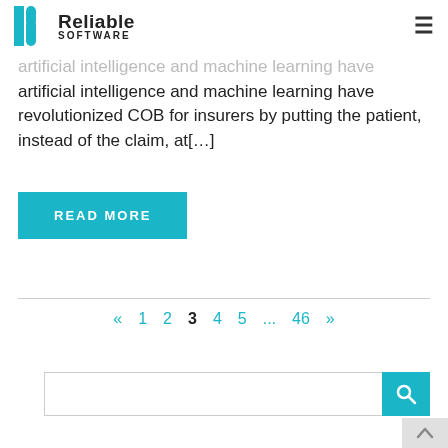Reliable Software
artificial intelligence and machine learning have revolutionized COB for insurers by putting the patient, instead of the claim, at[…]
READ MORE
« 1 2 3 4 5 ... 46 »